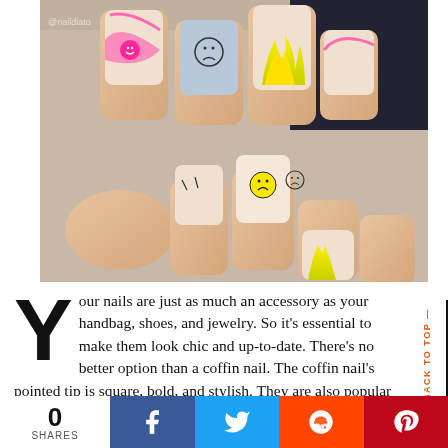[Figure (photo): Close-up photo of manicured coffin-shaped nails featuring smiley face nail art with yellow flame designs and pink swirls on a natural/nude base.]
Your nails are just as much an accessory as your handbag, shoes, and jewelry. So it's essential to make them look chic and up-to-date. There's no better option than a coffin nail. The coffin nail's pointed tip is square, bold, and stylish. They are also popular with fashionable women.
0 SHARES | Facebook | Twitter | Reddit | Pinterest